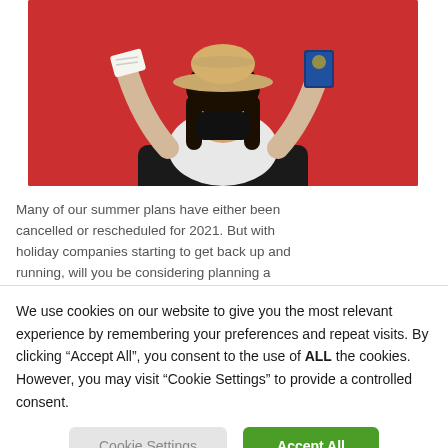[Figure (photo): Woman wearing a black face mask and straw hat, holding up papers/tickets and a passport, sitting behind a suitcase against a red background]
Many of our summer plans have either been cancelled or rescheduled for 2021. But with holiday companies starting to get back up and running, will you be considering planning a
We use cookies on our website to give you the most relevant experience by remembering your preferences and repeat visits. By clicking “Accept All”, you consent to the use of ALL the cookies. However, you may visit "Cookie Settings" to provide a controlled consent.
Cookie Settings
Accept All